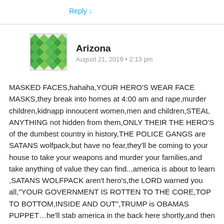Reply ↓
[Figure (illustration): Green diamond-pattern avatar icon for user Arizona]
Arizona
August 21, 2019 • 2:13 pm
MASKED FACES,hahaha,YOUR HERO'S WEAR FACE MASKS,they break into homes at 4:00 am and rape,murder children,kidnapp innoucent women,men and children,STEAL ANYTHING not hidden from them,ONLY THEIR THE HERO'S of the dumbest country in history,THE POLICE GANGS are SATANS wolfpack,but have no fear,they'll be coming to your house to take your weapons and murder your families,and take anything of value they can find..,america is about to learn ,SATANS WOLFPACK aren't hero's,the LORD warned you all,"YOUR GOVERNMENT IS ROTTEN TO THE CORE,TOP TO BOTTOM,INSIDE AND OUT",TRUMP is OBAMAS PUPPET…he'll stab america in the back here shortly,and then a few of you will realize you were TRICKED again..most are to blind to see it…THE WORSE